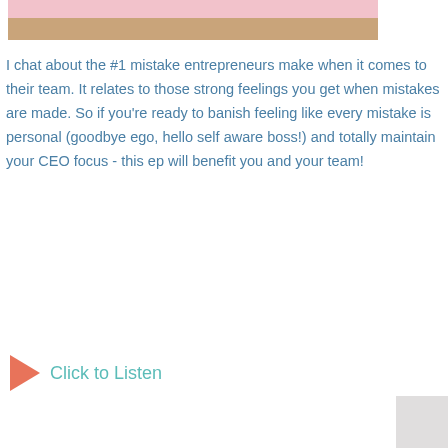[Figure (photo): Partial photo of a person sitting on a wooden floor, only lower body visible, with pink background above]
I chat about the #1 mistake entrepreneurs make when it comes to their team. It relates to those strong feelings you get when mistakes are made. So if you're ready to banish feeling like every mistake is personal (goodbye ego, hello self aware boss!) and totally maintain your CEO focus - this ep will benefit you and your team!
Click to Listen